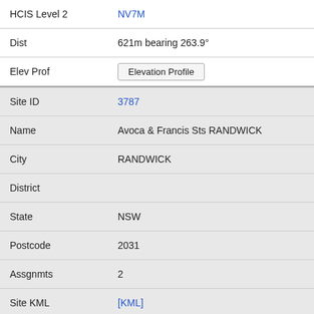| Field | Value |
| --- | --- |
| HCIS Level 2 | NV7M |
| Dist | 621m bearing 263.9° |
| Elev Prof | [Elevation Profile button] |
| Site ID | 3787 |
| Name | Avoca & Francis Sts RANDWICK |
| City | RANDWICK |
| District |  |
| State | NSW |
| Postcode | 2031 |
| Assgnmts | 2 |
| Site KML | [KML] |
| HCIS Level 2 | NV7M |
| Dist | 657m bearing 212.5° |
| Elev Prof | [Elevation Profile button] |
| Site ID | 9015106 |
| Name | VHA rooftop site 125 King Street RANDWICK |